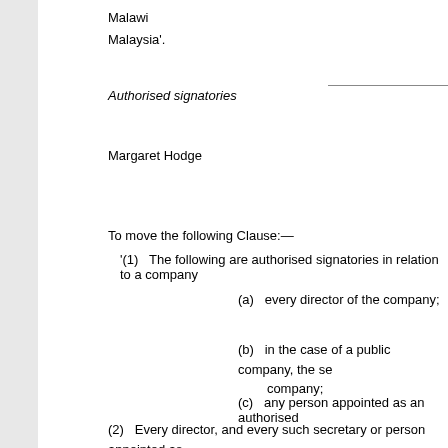Malawi
Malaysia'.
Authorised signatories
Margaret Hodge
To move the following Clause:—
'(1)   The following are authorised signatories in relation to a company
(a)   every director of the company;
(b)   in the case of a public company, the se company;
(c)   any person appointed as an authorised
(2)   Every director, and every such secretary or person appointed as documents of any description on behalf of the company.
(3)   The signature of any such person on behalf of the company is ef
(a)   that there was a defect in his appointm
(b)   that he was not qualified to be appointe